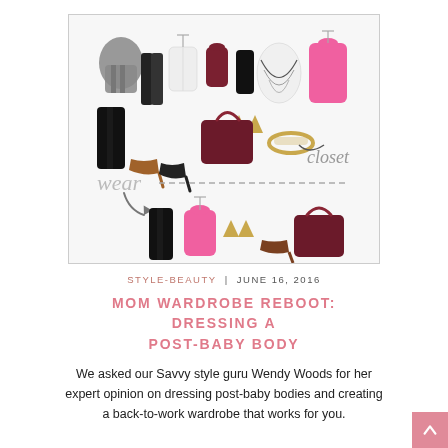[Figure (illustration): Fashion collage showing various clothing items (cardigan, black pants, pink dress, white blouse, maroon top, black top, patterned skirt, pink oversized top), accessories (gold earrings, bracelet, heels, dark handbag), with text labels 'wear' and 'closet' separated by a dashed line, and arrows pointing to outfit combinations below.]
STYLE-BEAUTY | JUNE 16, 2016
MOM WARDROBE REBOOT: DRESSING A POST-BABY BODY
We asked our Savvy style guru Wendy Woods for her expert opinion on dressing post-baby bodies and creating a back-to-work wardrobe that works for you.